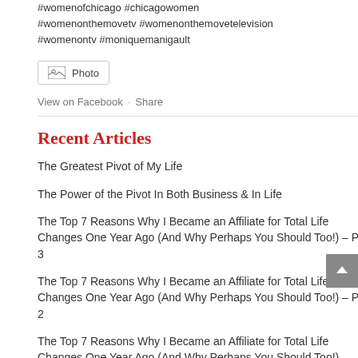#womenofchicago #chicagowomen #womenonthemovetv #womenonthemovetelevision #womenontv #moniquemanigault
[Figure (other): Photo attachment button with image icon]
View on Facebook · Share
Recent Articles
The Greatest Pivot of My Life
The Power of the Pivot In Both Business & In Life
The Top 7 Reasons Why I Became an Affiliate for Total Life Changes One Year Ago (And Why Perhaps You Should Too!) – Part 3
The Top 7 Reasons Why I Became an Affiliate for Total Life Changes One Year Ago (And Why Perhaps You Should Too!) – Part 2
The Top 7 Reasons Why I Became an Affiliate for Total Life Changes One Year Ago (And Why Perhaps You Should Too!)